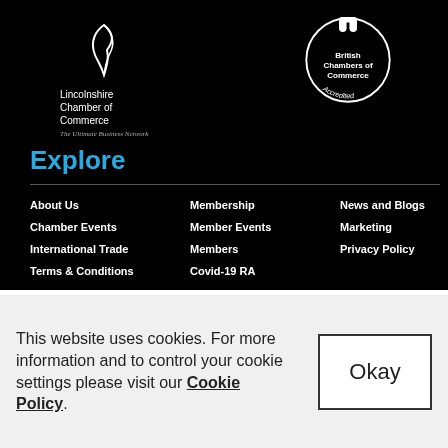[Figure (logo): Lincolnshire Chamber of Commerce logo - white stylized feather/flame icon above the text 'Lincolnshire Chamber of Commerce' and tagline 'The Ultimate Business Network']
[Figure (logo): British Chambers of Commerce Accredited logo - circular badge with BCC logo icon at top, text 'British Chambers of Commerce' in center, 'Accredited' at the bottom arc]
Explore
About Us
Membership
News and Blogs
Chamber Events
Member Events
Marketing
International Trade
Members
Privacy Policy
Terms & Conditions
Covid-19 RA
This website uses cookies. For more information and to control your cookie settings please visit our Cookie Policy.